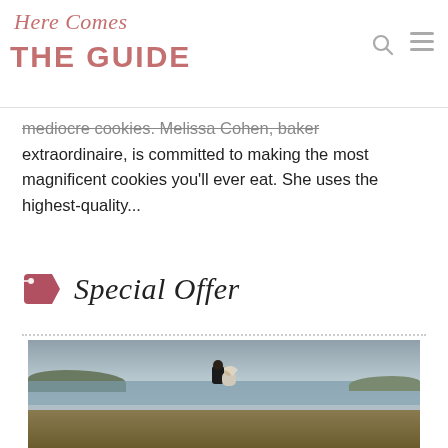Here Comes THE GUIDE
mediocre cookies. Melissa Cohen, baker extraordinaire, is committed to making the most magnificent cookies you'll ever eat. She uses the highest-quality...
Special Offer
[Figure (photo): Wedding photo of a couple standing by a lake with overcast sky, grassy waterside landscape]